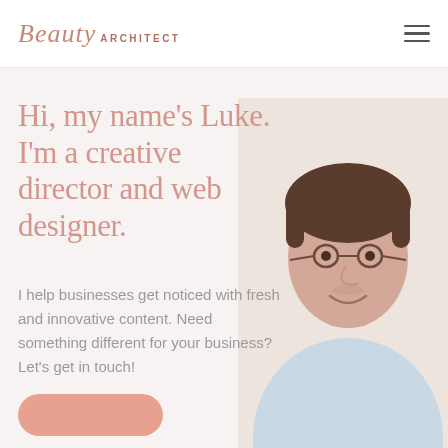Beauty ARCHITECT
Hi, my name's Luke. I'm a creative director and web designer.
I help businesses get noticed with fresh and innovative content. Need something different for your business? Let's get in touch!
[Figure (photo): Portrait photo of a smiling man with glasses and short dark hair, wearing a light blue shirt, positioned on the right side of the page]